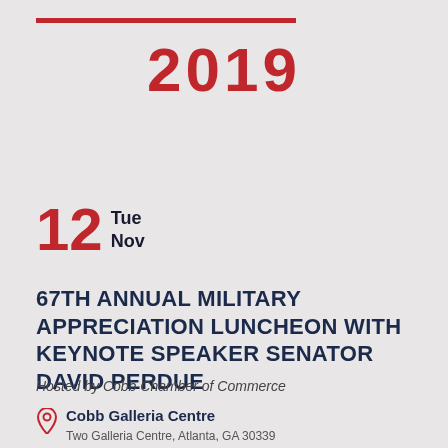2019
12 Tue Nov
67TH ANNUAL MILITARY APPRECIATION LUNCHEON WITH KEYNOTE SPEAKER SENATOR DAVID PERDUE
Hosted by Cobb Chamber of Commerce
Cobb Galleria Centre
Two Galleria Centre, Atlanta, GA 30339